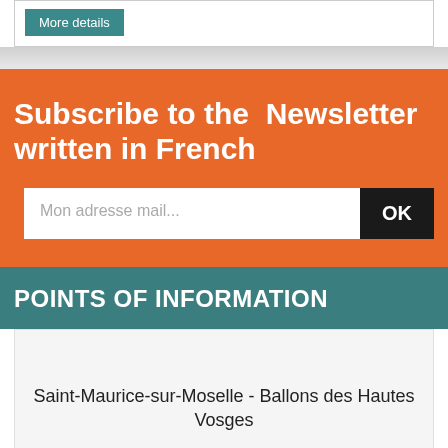[Figure (screenshot): A button labeled 'More details' with teal background]
Subscribe to the Newsletter written in French
[Figure (screenshot): Email input field with placeholder 'Mon adresse mail...' and OK button]
POINTS OF INFORMATION
Saint-Maurice-sur-Moselle - Ballons des Hautes Vosges